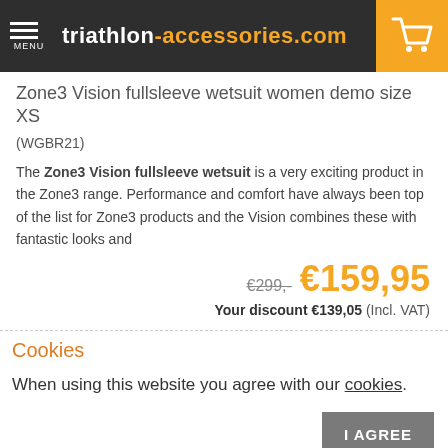triathlon-accessories.com
Zone3 Vision fullsleeve wetsuit women demo size XS
(WGBR21)
The Zone3 Vision fullsleeve wetsuit is a very exciting product in the Zone3 range. Performance and comfort have always been top of the list for Zone3 products and the Vision combines these with fantastic looks and
€299,- €159,95 Your discount €139,05 (Incl. VAT)
Cookies
When using this website you agree with our cookies.